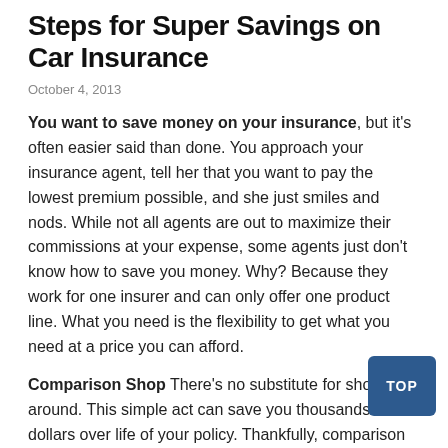Steps for Super Savings on Car Insurance
October 4, 2013
You want to save money on your insurance, but it's often easier said than done. You approach your insurance agent, tell her that you want to pay the lowest premium possible, and she just smiles and nods. While not all agents are out to maximize their commissions at your expense, some agents just don't know how to save you money. Why? Because they work for one insurer and can only offer one product line. What you need is the flexibility to get what you need at a price you can afford.
Comparison Shop There's no substitute for shopping around. This simple act can save you thousands of dollars over life of your policy. Thankfully, comparison shopping is pretty simple to do on your own thanks to online quote engines. These software programs will locate quotes from companies authorized to do business in your area and itemize the quotes in an easy-to-read format. From there, it's a simple matter of